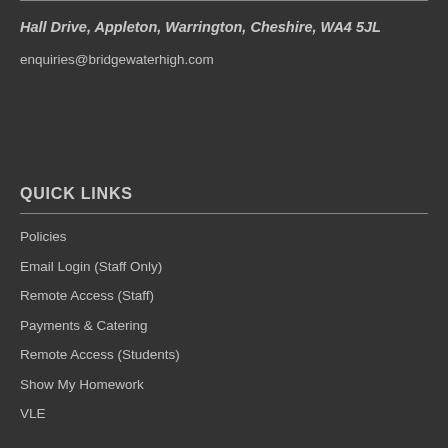Hall Drive, Appleton, Warrington, Cheshire, WA4 5JL
enquiries@bridgewaterhigh.com
QUICK LINKS
Policies
Email Login (Staff Only)
Remote Access (Staff)
Payments & Catering
Remote Access (Students)
Show My Homework
VLE